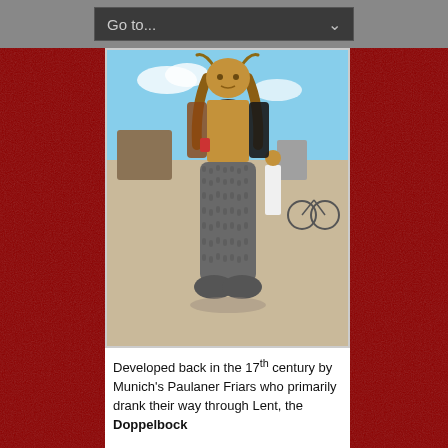Go to...
[Figure (photo): A person in a devil/satyr costume with horns, long hair, shirtless torso, fishnet arm sleeves, and large furry grey pants and boots, standing outdoors at what appears to be Burning Man festival. Background shows desert landscape with other people and a bicycle.]
Developed back in the 17th century by Munich's Paulaner Friars who primarily drank their way through Lent, the Doppelbock